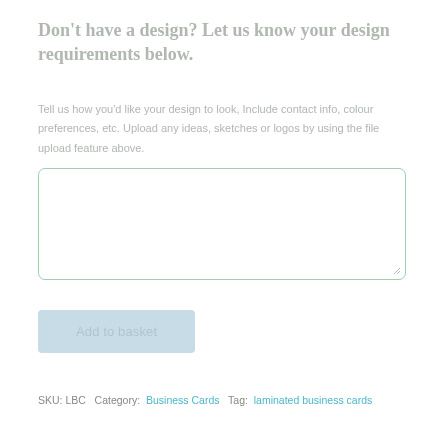Don't have a design? Let us know your design requirements below.
Tell us how you'd like your design to look, Include contact info, colour preferences, etc. Upload any ideas, sketches or logos by using the file upload feature above.
[Figure (other): Empty text area input field with green rounded border and resize handle]
[Figure (other): Add to basket button, light blue/grey color]
SKU: LBC  Category: Business Cards  Tag: laminated business cards